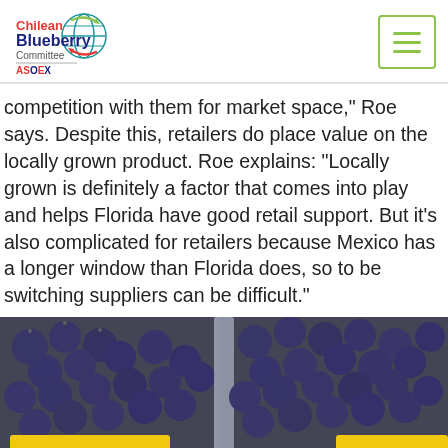[Figure (logo): Chilean Blueberry Committee ASOEX logo with globe icon]
competition with them for market space," Roe says. Despite this, retailers do place value on the locally grown product. Roe explains: "Locally grown is definitely a factor that comes into play and helps Florida have good retail support. But it's also complicated for retailers because Mexico has a longer window than Florida does, so to be switching suppliers can be difficult."
[Figure (photo): Close-up photo of Florida Blueberries in clear plastic clamshell containers, with yellow Florida-shaped labels reading 'FLORIDA BLUEBERRIES', 'New Crop', and 'First of the Season']